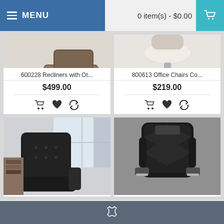MENU | 0 item(s) - $0.00
[Figure (photo): Recliner chair with ottoman in living room setting, brown/taupe color]
600228 Recliners with Ot...
$499.00
[Figure (photo): Office chair with chrome base and wheels, beige/cream upholstery, viewed from below]
800613 Office Chairs Co...
$219.00
[Figure (photo): Black executive office chair in home office setting]
[Figure (photo): Black racing style gaming chair with silver accents]
Phone contact bar